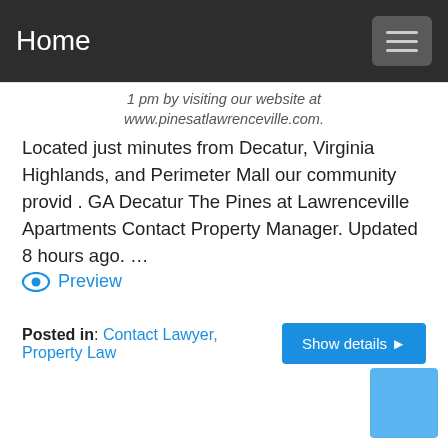Home
1 pm by visiting our website at www.pinesatlawrenceville.com. Located just minutes from Decatur, Virginia Highlands, and Perimeter Mall our community provid . GA Decatur The Pines at Lawrenceville Apartments Contact Property Manager. Updated 8 hours ago. …
Preview
Posted in: Contact Lawyer, Property Law
[Figure (other): Blue square button in bottom right corner]